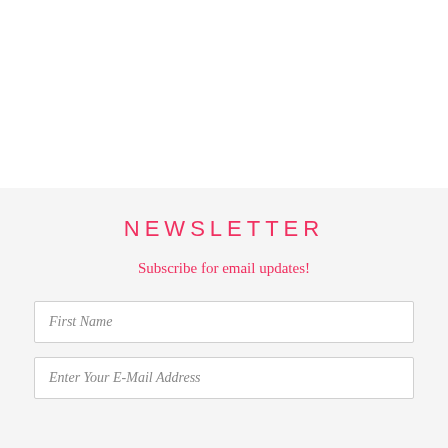NEWSLETTER
Subscribe for email updates!
First Name
Enter Your E-Mail Address